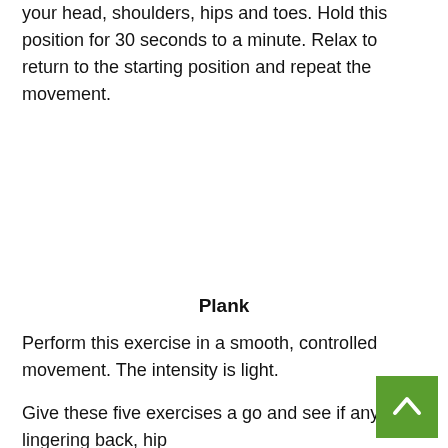your head, shoulders, hips and toes. Hold this position for 30 seconds to a minute. Relax to return to the starting position and repeat the movement.
Plank
Perform this exercise in a smooth, controlled movement. The intensity is light.
Give these five exercises a go and see if any lingering back, hip